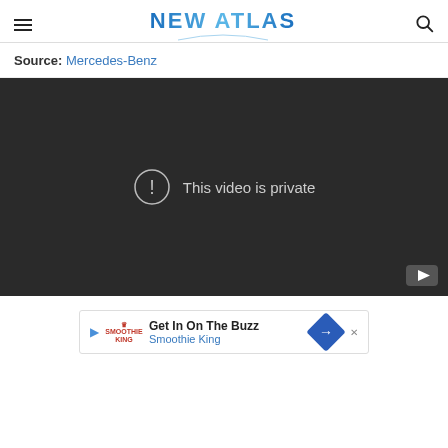NEW ATLAS
Source: Mercedes-Benz
[Figure (screenshot): Embedded video player showing 'This video is private' error message on dark background with YouTube button in bottom right corner.]
[Figure (other): Advertisement banner: Get In On The Buzz - Smoothie King]